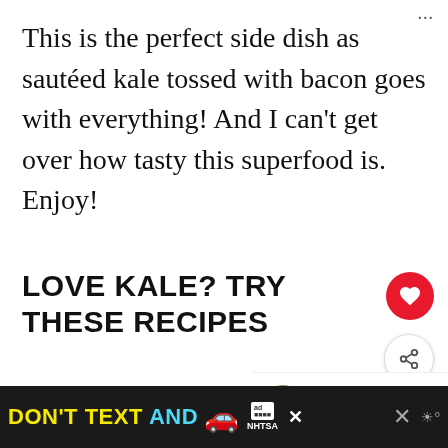This is the perfect side dish as sautéed kale tossed with bacon goes with everything! And I can't get over how tasty this superfood is. Enjoy!
LOVE KALE? TRY THESE RECIPES
Autumn kale salad : This mess… kale salad is topped with apple
[Figure (other): NHTSA Don't Text and Drive advertisement banner with yellow and cyan text on black background with red car emoji]
[Figure (other): What's Next card showing Beef Stroganoff...]